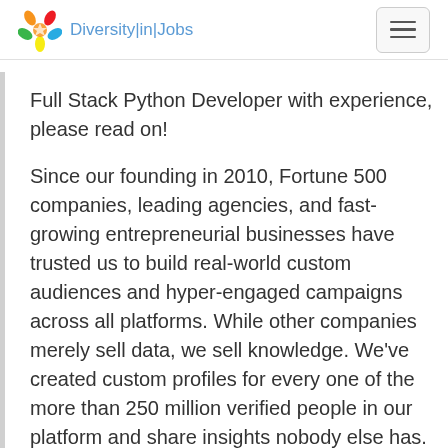Diversity|in|Jobs
Full Stack Python Developer with experience, please read on!
Since our founding in 2010, Fortune 500 companies, leading agencies, and fast-growing entrepreneurial businesses have trusted us to build real-world custom audiences and hyper-engaged campaigns across all platforms. While other companies merely sell data, we sell knowledge. We've created custom profiles for every one of the more than 250 million verified people in our platform and share insights nobody else has.
What You Will Be Doing -Developing highly scalable and distributed software